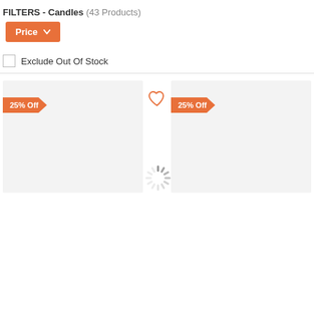FILTERS - Candles (43 Products)
Price ▼
Exclude Out Of Stock
[Figure (screenshot): E-commerce product listing page showing two product card placeholders with '25% Off' ribbon badges on an orange background, a heart/wishlist icon between them, and a loading spinner in the center of the page indicating content is loading.]